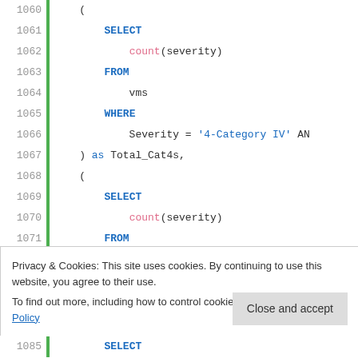[Figure (screenshot): SQL code block with syntax highlighting showing lines 1060-1076 and 1085. Lines show a SQL query with SELECT count(severity) FROM vms WHERE clauses, subqueries aliased as Total_Cat4s and Done_Cat4. A green vertical bar runs along the left side of each line. Syntax is highlighted: SQL keywords in bold blue, string literals in blue, function names in pink.]
Privacy & Cookies: This site uses cookies. By continuing to use this website, you agree to their use.
To find out more, including how to control cookies, see here: Cookie Policy